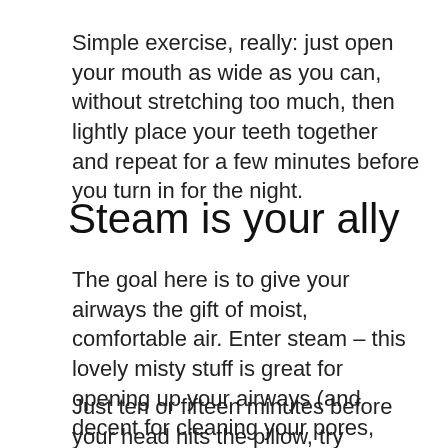Simple exercise, really: just open your mouth as wide as you can, without stretching too much, then lightly place your teeth together and repeat for a few minutes before you turn in for the night.
Steam is your ally
The goal here is to give your airways the gift of moist, comfortable air. Enter steam – this lovely misty stuff is great for opening up your airways (and decent for cleaning your pores, too!).
Just ten or fifteen minutes before your head hits the pillow, try holding your face over a bowl of boiling, or otherwise steaming, water